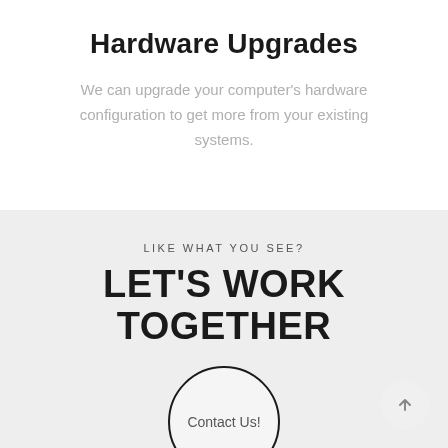Hardware Upgrades
We can upgrade your computer's hardware configuration to get more from your existing systems.
LIKE WHAT YOU SEE?
LET'S WORK TOGETHER
Contact Us!